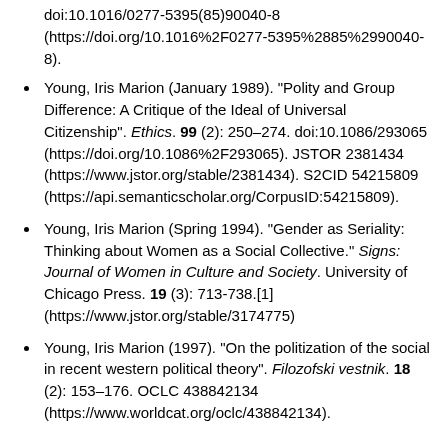doi:10.1016/0277-5395(85)90040-8 (https://doi.org/10.1016%2F0277-5395%2885%2990040-8).
Young, Iris Marion (January 1989). "Polity and Group Difference: A Critique of the Ideal of Universal Citizenship". Ethics. 99 (2): 250–274. doi:10.1086/293065 (https://doi.org/10.1086%2F293065). JSTOR 2381434 (https://www.jstor.org/stable/2381434). S2CID 54215809 (https://api.semanticscholar.org/CorpusID:54215809).
Young, Iris Marion (Spring 1994). "Gender as Seriality: Thinking about Women as a Social Collective." Signs: Journal of Women in Culture and Society. University of Chicago Press. 19 (3): 713-738.[1] (https://www.jstor.org/stable/3174775)
Young, Iris Marion (1997). "On the politization of the social in recent western political theory". Filozofski vestnik. 18 (2): 153–176. OCLC 438842134 (https://www.worldcat.org/oclc/438842134).